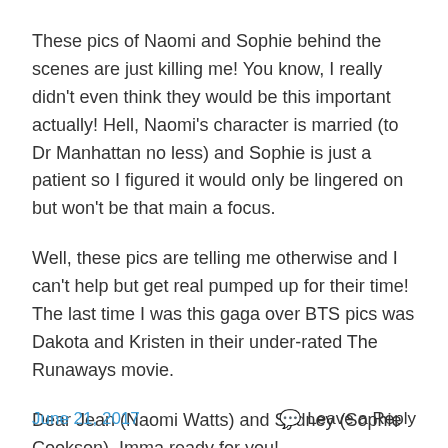These pics of Naomi and Sophie behind the scenes are just killing me! You know, I really didn't even think they would be this important actually! Hell, Naomi's character is married (to Dr Manhattan no less) and Sophie is just a patient so I figured it would only be lingered on but won't be that main a focus.
Well, these pics are telling me otherwise and I can't help but get real pumped up for their time! The last time I was this gaga over BTS pics was Dakota and Kristen in their under-rated The Runaways movie.
Dear Jean (Naomi Watts) and Sydney (Sophie Cookson), Imma ready for you!
June 21, 2017   Leave a Reply